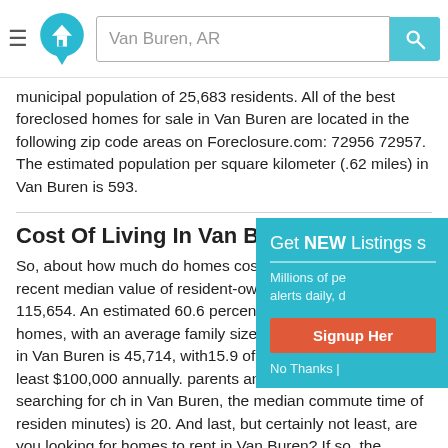Van Buren, AR [search bar with logo and hamburger menu]
municipal population of 25,683 residents. All of the best foreclosed homes for sale in Van Buren are located in the following zip code areas on Foreclosure.com: 72956 72957. The estimated population per square kilometer (.62 miles) in Van Buren is 593.
Cost Of Living In Van Buren, AR
So, about how much do homes cost in Van Buren? The recent median value of resident-owned homes in Van Buren is 115,654. An estimated 60.6 percent of households in Van Buren own their homes, with an average family size of 3.16. The household income in Van Buren is 45,714, with15.9 percent of households earning at least $100,000 annually. For parents and professionals who are searching for cheaper homes in Van Buren, the median commute time of residents (in minutes) is 20. And last, but certainly not least, are you looking for homes to rent in Van Buren? If so, the average rent price paid by renters in Van Buren is 724, according to recent statistics.
[Figure (screenshot): Popup overlay panel with cyan/teal background showing 'Get NEW Listings s...' title, 'Millions of pe... alerts daily, d...' subtitle, red 'Signup Her...' button, and 'No Thanks |' link]